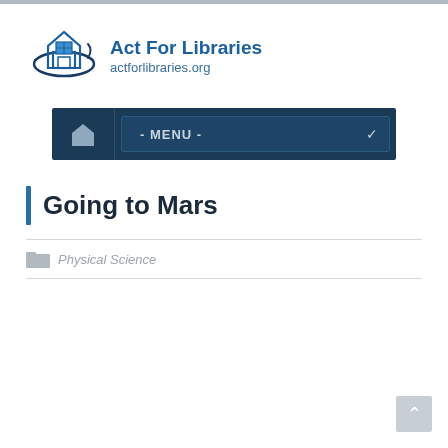[Figure (logo): Act For Libraries logo: house icon with swoosh and text 'Act For Libraries' and 'actforlibraries.org']
- MENU -
Going to Mars
Physical Science